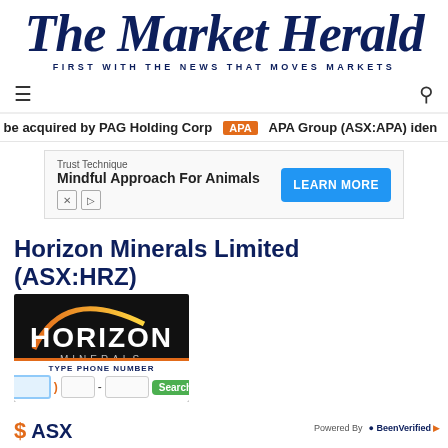The Market Herald — FIRST WITH THE NEWS THAT MOVES MARKETS
be acquired by PAG Holding Corp  APA  APA Group (ASX:APA) iden
[Figure (screenshot): Advertisement: Trust Technique - Mindful Approach For Animals with LEARN MORE button]
Horizon Minerals Limited (ASX:HRZ)
[Figure (logo): Horizon Minerals company logo — white HORIZON MINERALS text on black background with orange arc]
[Figure (screenshot): Phone number lookup bar with TYPE PHONE NUMBER label, input fields for area code, prefix, and line number, green Search button, Powered by BeenVerified]